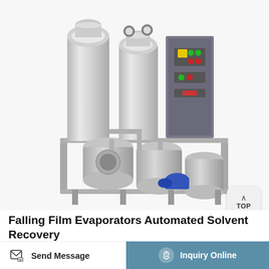[Figure (photo): Industrial falling film evaporator system with multiple stainless steel vertical cylindrical vessels, tanks, piping, a blue motor/pump, and a grey electrical control panel with switches and buttons, all mounted on a stainless steel frame. A 'TOP' navigation button is overlaid in the bottom-right corner of the image.]
Falling Film Evaporators Automated Solvent Recovery
A falling film evaporator is a specialized type of